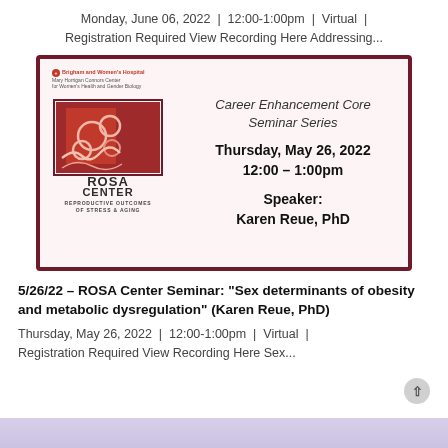Monday, June 06, 2022  |  12:00-1:00pm  |  Virtual  |  Registration Required View Recording Here Addressing...
[Figure (infographic): ROSA Center Career Enhancement Core Seminar Series flyer. Shows Brigham and Women's Hospital / Mary Horrigan Connors Center for Women's Health and Gender Biology logo, ROSA Center logo with abstract cell art, and event details: Thursday, May 26, 2022, 12:00 – 1:00pm, Speaker: Karen Reue, PhD.]
5/26/22 – ROSA Center Seminar: "Sex determinants of obesity and metabolic dysregulation" (Karen Reue, PhD)
Thursday, May 26, 2022  |  12:00-1:00pm  |  Virtual  |  Registration Required View Recording Here Sex...